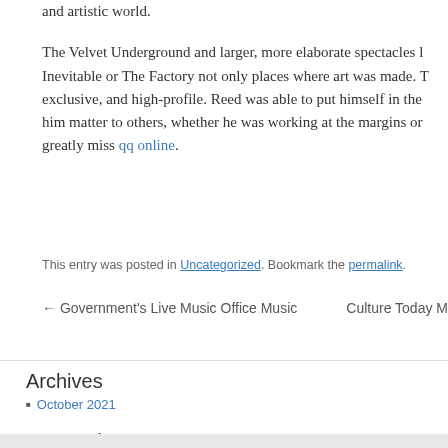and artistic world.
The Velvet Underground and larger, more elaborate spectacles like Exploding Plastic Inevitable or The Factory not only places where art was made. They were hip, exclusive, and high-profile. Reed was able to put himself in the center, and let him matter to others, whether he was working at the margins or not. We will greatly miss qq online.
This entry was posted in Uncategorized. Bookmark the permalink.
← Government's Live Music Office Music   Culture Today M
Archives
October 2021
Categories
Uncategorized
Ensemble Peripherie